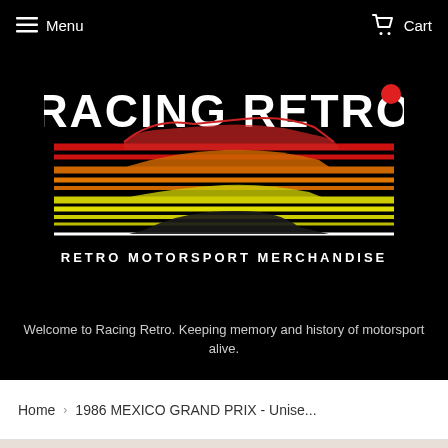Menu   Cart
[Figure (logo): Racing Retro logo — stylized text 'RACING RETRO' with a red dot, above a formula racing car silhouette with horizontal stripe layers in red, orange, and yellow, and the tagline 'RETRO MOTORSPORT MERCHANDISE']
Welcome to Racing Retro. Keeping memory and history of motorsport alive.
Home > 1986 MEXICO GRAND PRIX - Unise...
[Figure (photo): Partial view of a person's face/head at the bottom of the page]